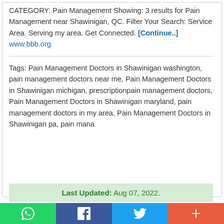CATEGORY: Pain Management Showing: 3 results for Pain Management near Shawinigan, QC. Filter Your Search: Service Area. Serving my area. Get Connected. [Continue..] www.bbb.org
Tags: Pain Management Doctors in Shawinigan washington, pain management doctors near me, Pain Management Doctors in Shawinigan michigan, prescriptionpain management doctors, Pain Management Doctors in Shawinigan maryland, pain management doctors in my area, Pain Management Doctors in Shawinigan pa, pain mana
Last Updated: Aug 07, 2022.